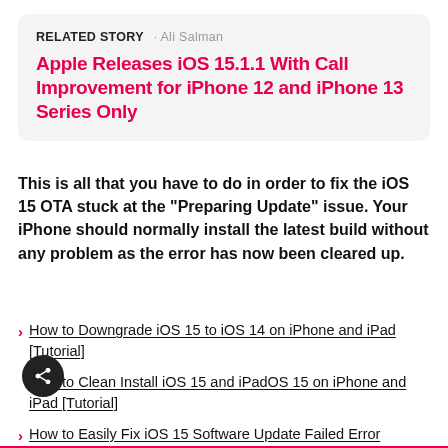RELATED STORY · Ali Salman
Apple Releases iOS 15.1.1 With Call Improvement for iPhone 12 and iPhone 13 Series Only
This is all that you have to do in order to fix the iOS 15 OTA stuck at the "Preparing Update" issue. Your iPhone should normally install the latest build without any problem as the error has now been cleared up.
How to Downgrade iOS 15 to iOS 14 on iPhone and iPad [Tutorial]
How to Clean Install iOS 15 and iPadOS 15 on iPhone and iPad [Tutorial]
How to Easily Fix iOS 15 Software Update Failed Error